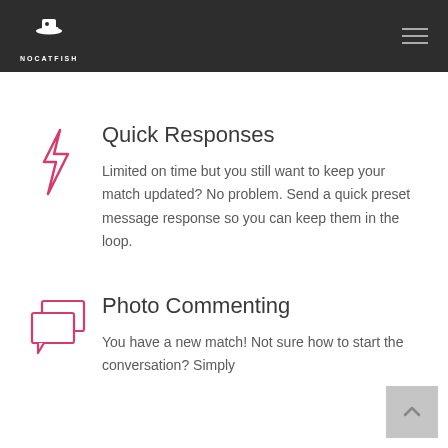NOCATFISH
Quick Responses
Limited on time but you still want to keep your match updated? No problem. Send a quick preset message response so you can keep them in the loop.
Photo Commenting
You have a new match! Not sure how to start the conversation? Simply